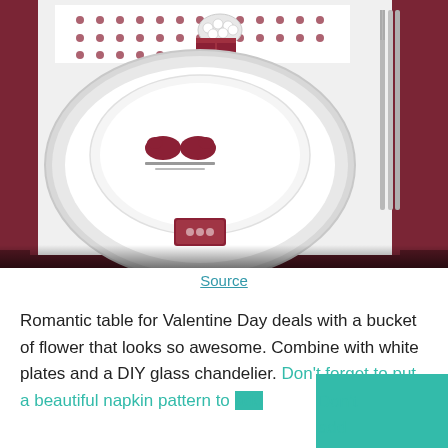[Figure (photo): A romantic Valentine's Day table setting featuring white plates stacked on a dark red/burgundy placemat, a white napkin with red heart pattern, a pearl brooch, a decorative napkin ring, silverware, and a card with bird motif on the plate.]
Source
Romantic table for Valentine Day deals with a bucket of flower that looks so awesome. Combine with white plates and a DIY glass chandelier. Don't forget to put a beautiful napkin pattern to add